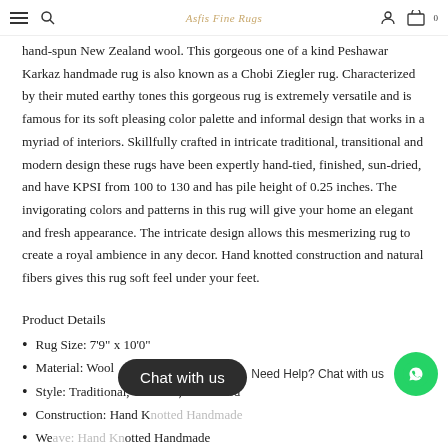Asfis Fine Rugs
hand-spun New Zealand wool. This gorgeous one of a kind Peshawar Karkaz handmade rug is also known as a Chobi Ziegler rug. Characterized by their muted earthy tones this gorgeous rug is extremely versatile and is famous for its soft pleasing color palette and informal design that works in a myriad of interiors. Skillfully crafted in intricate traditional, transitional and modern design these rugs have been expertly hand-tied, finished, sun-dried, and have KPSI from 100 to 130 and has pile height of 0.25 inches. The invigorating colors and patterns in this rug will give your home an elegant and fresh appearance. The intricate design allows this mesmerizing rug to create a royal ambience in any decor. Hand knotted construction and natural fibers gives this rug soft feel under your feet.
Product Details
Rug Size: 7'9" x 10'0"
Material: Wool
Style: Traditional, Oriental , Sun Faded
Construction: Hand Knotted Handmade
Weave Type: Hand Knotted Handmade
Pile Height: 0.25 – 0.5 inch